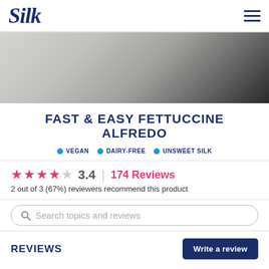Silk
[Figure (photo): Close-up photo of a dark bowl or plate with light-colored surface, likely a recipe hero image]
FAST & EASY FETTUCCINE ALFREDO
● VEGAN  ● DAIRY-FREE  ● UNSWEET SILK
3.4  174 Reviews
2 out of 3 (67%) reviewers recommend this product
Search topics and reviews
REVIEWS
Write a review